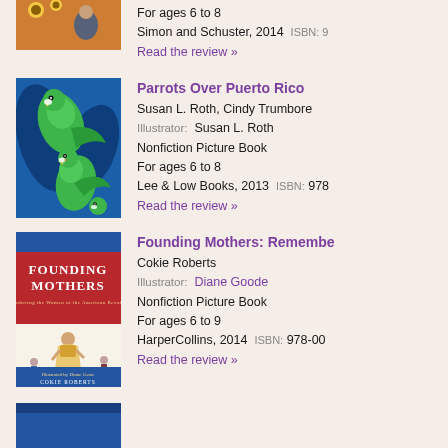[Figure (photo): Partial book cover at top of page - child reading with sunflowers]
For ages 6 to 8
Simon and Schuster, 2014  ISBN: 9...
Read the review »
[Figure (illustration): Book cover for Parrots Over Puerto Rico - green parrots over blue background]
Parrots Over Puerto Rico
Susan L. Roth, Cindy Trumbore
Illustrator: Susan L. Roth
Nonfiction Picture Book
For ages 6 to 8
Lee & Low Books, 2013  ISBN: 978...
Read the review »
[Figure (photo): Book cover for Founding Mothers: Remembering the Mothers of the Nation - illustrated cover with woman in colonial dress]
Founding Mothers: Remembe...
Cokie Roberts
Illustrator: Diane Goode
Nonfiction Picture Book
For ages 6 to 9
HarperCollins, 2014  ISBN: 978-00...
Read the review »
[Figure (photo): Partial book cover at bottom of page - blue cover partially visible]